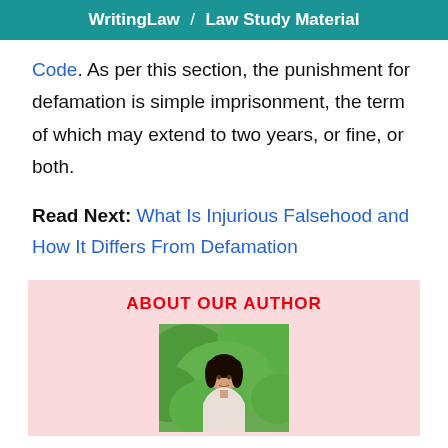WritingLaw / Law Study Material
Code. As per this section, the punishment for defamation is simple imprisonment, the term of which may extend to two years, or fine, or both.
Read Next: What Is Injurious Falsehood and How It Differs From Defamation
ABOUT OUR AUTHOR
[Figure (photo): Photo of a young woman with dark hair, wearing a white outfit, in front of green trees/foliage]